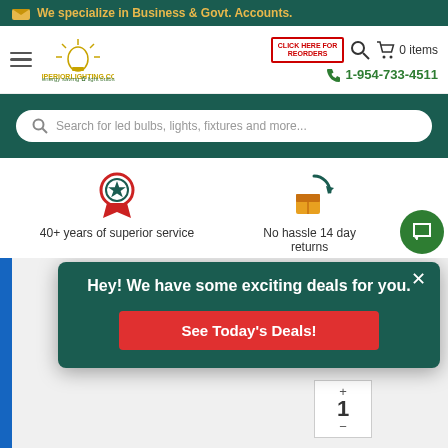We specialize in Business & Govt. Accounts.
[Figure (logo): SuperiorLighting.com logo with lightbulb icon]
CLICK HERE FOR REORDERS
0 items
1-954-733-4511
Search for led bulbs, lights, fixtures and more...
40+ years of superior service
No hassle 14 day returns
Hey! We have some exciting deals for you.
See Today's Deals!
1
LED Wet Location PAR20 Flood Bulb.